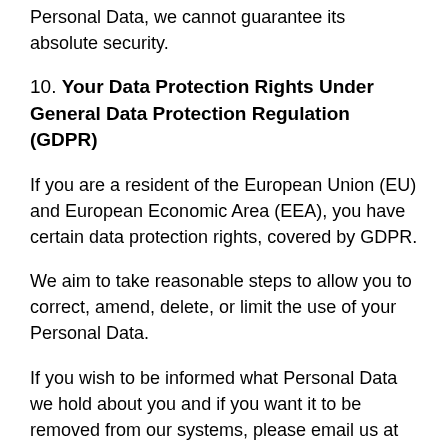Personal Data, we cannot guarantee its absolute security.
10. Your Data Protection Rights Under General Data Protection Regulation (GDPR)
If you are a resident of the European Union (EU) and European Economic Area (EEA), you have certain data protection rights, covered by GDPR.
We aim to take reasonable steps to allow you to correct, amend, delete, or limit the use of your Personal Data.
If you wish to be informed what Personal Data we hold about you and if you want it to be removed from our systems, please email us at support@anyconv.com.
In certain circumstances, you have the following data protection rights:
- the right to access, update or to delete the information we